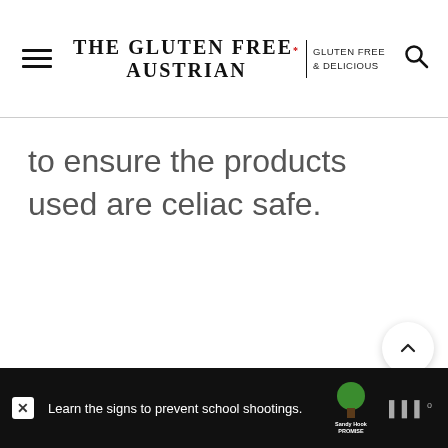THE GLUTEN FREE AUSTRIAN | GLUTEN FREE & Delicious
to ensure the products used are celiac safe.
[Figure (screenshot): Floating action buttons: up arrow button, count 56, heart/like button, search button]
[Figure (screenshot): Ad banner: Learn the signs to prevent school shootings. Sandy Hook Promise logo and tree icon, close button, and brand mark on right.]